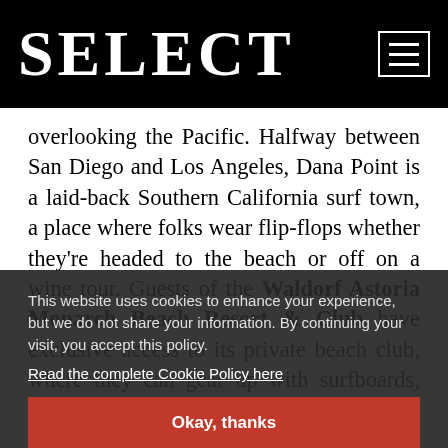SELECT
overlooking the Pacific. Halfway between San Diego and Los Angeles, Dana Point is a laid-back Southern California surf town, a place where folks wear flip-flops whether they're headed to the beach or off on a wine tour. Guests of the Waldorf Astoria Monarch Beach Resort & Club have exclusive access to its private beach club, where they can gear up with surfboards, snorkels, stand up paddleboards and more - or perhaps just a comfortable
This website uses cookies to enhance your experience, but we do not share your information. By continuing your visit, you accept this policy.
Read the complete Cookie Policy here
Okay, thanks